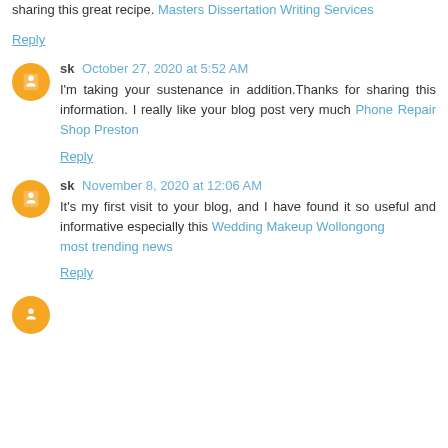sharing this great recipe. Masters Dissertation Writing Services
Reply
sk October 27, 2020 at 5:52 AM
I'm taking your sustenance in addition.Thanks for sharing this information. I really like your blog post very much Phone Repair Shop Preston
Reply
sk November 8, 2020 at 12:06 AM
It's my first visit to your blog, and I have found it so useful and informative especially this Wedding Makeup Wollongong most trending news
Reply